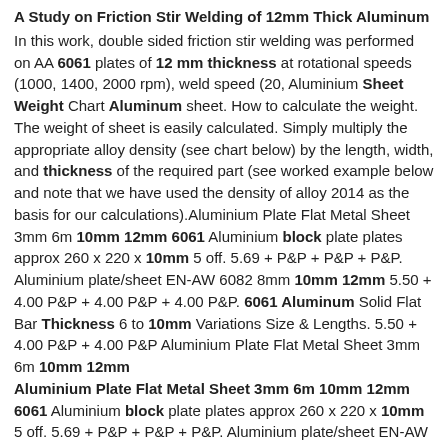A Study on Friction Stir Welding of 12mm Thick Aluminum
In this work, double sided friction stir welding was performed on AA 6061 plates of 12 mm thickness at rotational speeds (1000, 1400, 2000 rpm), weld speed (20, Aluminium Sheet Weight Chart Aluminum sheet. How to calculate the weight. The weight of sheet is easily calculated. Simply multiply the appropriate alloy density (see chart below) by the length, width, and thickness of the required part (see worked example below and note that we have used the density of alloy 2014 as the basis for our calculations).Aluminium Plate Flat Metal Sheet 3mm 6m 10mm 12mm 6061 Aluminium block plate plates approx 260 x 220 x 10mm 5 off. 5.69 + P&P + P&P + P&P. Aluminium plate/sheet EN-AW 6082 8mm 10mm 12mm 5.50 + 4.00 P&P + 4.00 P&P + 4.00 P&P. 6061 Aluminum Solid Flat Bar Thickness 6 to 10mm Variations Size & Lengths. 5.50 + 4.00 P&P + 4.00 P&P Aluminium Plate Flat Metal Sheet 3mm 6m 10mm 12mm
Aluminium Plate Flat Metal Sheet 3mm 6m 10mm 12mm 6061 Aluminium block plate plates approx 260 x 220 x 10mm 5 off. 5.69 + P&P + P&P + P&P. Aluminium plate/sheet EN-AW 6082 8mm 10mm 12mm 5.50 + 4.00 P&P + 4.00 P&P + 4.00 P&P. 6061